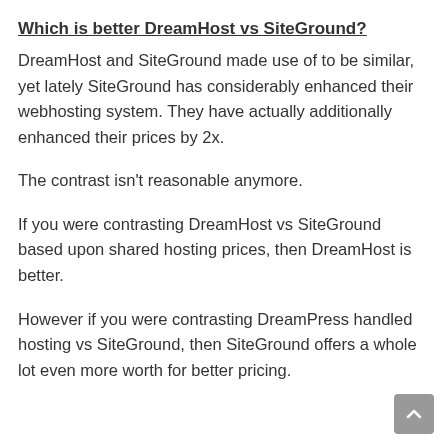Which is better DreamHost vs SiteGround?
DreamHost and SiteGround made use of to be similar, yet lately SiteGround has considerably enhanced their webhosting system. They have actually additionally enhanced their prices by 2x.
The contrast isn't reasonable anymore.
If you were contrasting DreamHost vs SiteGround based upon shared hosting prices, then DreamHost is better.
However if you were contrasting DreamPress handled hosting vs SiteGround, then SiteGround offers a whole lot even more worth for better pricing.